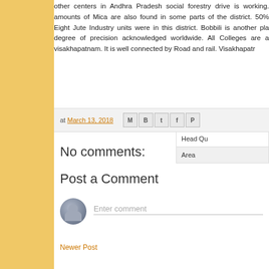other centers in Andhra Pradesh social forestry drive is working. amounts of Mica are also found in some parts of the district. 50% Eight Jute Industry units were in this district. Bobbili is another pla degree of precision acknowledged worldwide. All Colleges are a visakhapatnam. It is well connected by Road and rail. Visakhapatr
| Vizian |
| --- |
| Head Qu |
| Area |
at March 13, 2018
No comments:
Post a Comment
Enter comment
Newer Post